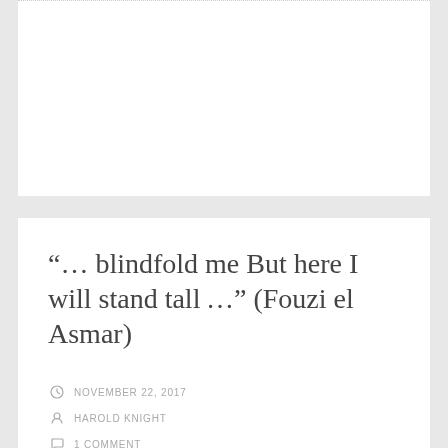“… blindfold me But here I will stand tall …” (Fouzi el Asmar)
NOVEMBER 22, 2017
HAROLD KNIGHT
1 COMMENT
Israel demolishes 2 Palestinian homes in occupied East Jerusalem